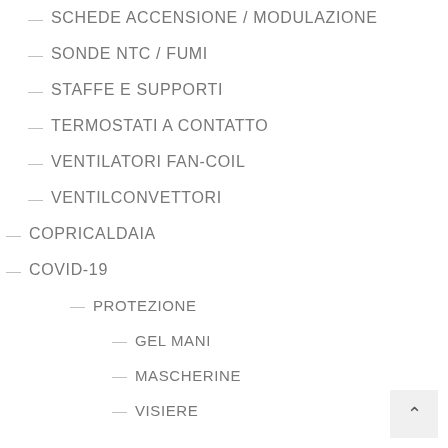— SCHEDE ACCENSIONE / MODULAZIONE
— SONDE NTC / FUMI
— STAFFE E SUPPORTI
— TERMOSTATI A CONTATTO
— VENTILATORI FAN-COIL
— VENTILCONVETTORI
— COPRICALDAIA
— COVID-19
— PROTEZIONE
— GEL MANI
— MASCHERINE
— VISIERE